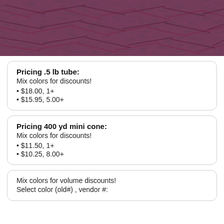[Figure (photo): Close-up photo of dark burgundy/maroon twisted yarn texture]
Pricing .5 lb tube:
Mix colors for discounts!
• $18.00, 1+
• $15.95, 5.00+
Pricing 400 yd mini cone:
Mix colors for discounts!
• $11.50, 1+
• $10.25, 8.00+
Mix colors for volume discounts!
Select color (old#) , vendor #: